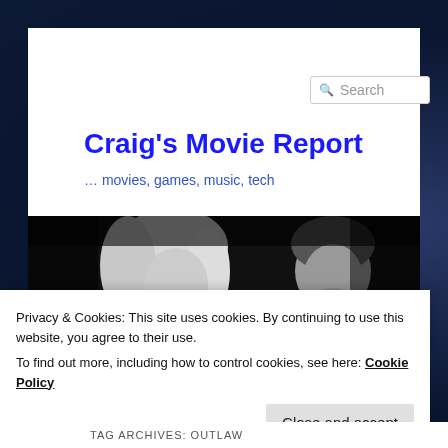Craig's Movie Report
… movies, games, music, tech
[Figure (photo): Black and white photo of a blonde woman and a man in a dark setting]
Privacy & Cookies: This site uses cookies. By continuing to use this website, you agree to their use.
To find out more, including how to control cookies, see here: Cookie Policy
Close and accept
TAG ARCHIVES: OUTLAW